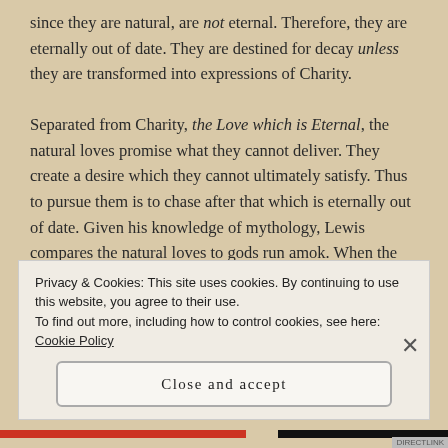since they are natural, are not eternal. Therefore, they are eternally out of date. They are destined for decay unless they are transformed into expressions of Charity.

Separated from Charity, the Love which is Eternal, the natural loves promise what they cannot deliver. They create a desire which they cannot ultimately satisfy. Thus to pursue them is to chase after that which is eternally out of date. Given his knowledge of mythology, Lewis compares the natural loves to gods run amok. When the gods run amok they
Privacy & Cookies: This site uses cookies. By continuing to use this website, you agree to their use.
To find out more, including how to control cookies, see here: Cookie Policy
Close and accept